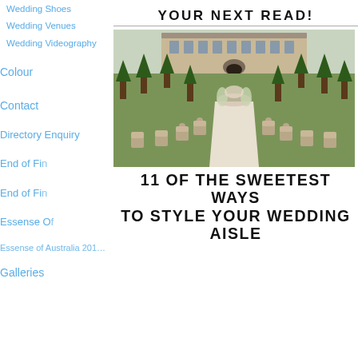Wedding Shoes
Wedding Venues
Wedding Videography
Colour
Contact
Directory Enquiry
End of Fi...
End of Fi...
Essense O...
Essense of Australia 2018 Quiz Results
Galleries
YOUR NEXT READ!
[Figure (photo): Outdoor wedding ceremony aisle at a grand chateau, lined with tall topiary trees and decorated chairs, with floral arch at the end]
11 OF THE SWEETEST WAYS TO STYLE YOUR WEDDING AISLE